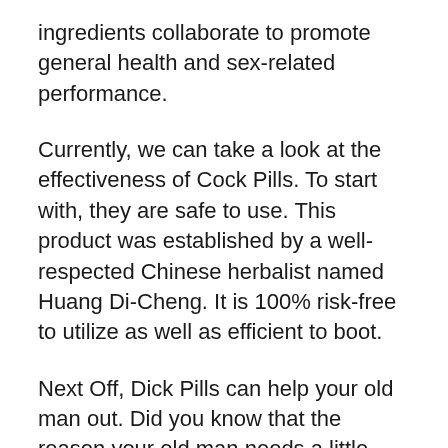ingredients collaborate to promote general health and sex-related performance.
Currently, we can take a look at the effectiveness of Cock Pills. To start with, they are safe to use. This product was established by a well-respected Chinese herbalist named Huang Di-Cheng. It is 100% risk-free to utilize as well as efficient to boot.
Next Off, Dick Pills can help your old man out. Did you know that the reason your old man needs a little pick-me up occasionally is because he is really feeling old? Well, the answer is an easy one. All your body's systems, including your blood, need some nutrients to make sure that your organs can operate properly. Among those systems is